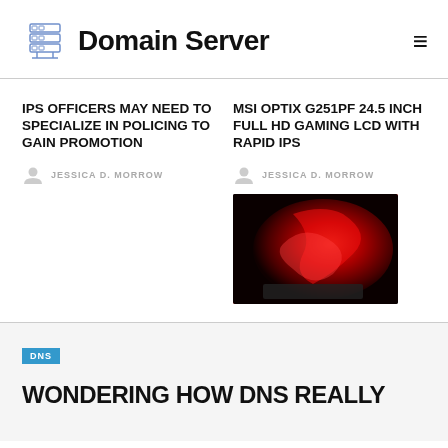[Figure (logo): Domain Server logo with server rack icon and site title]
IPS OFFICERS MAY NEED TO SPECIALIZE IN POLICING TO GAIN PROMOTION
JESSICA D. MORROW
MSI OPTIX G251PF 24.5 INCH FULL HD GAMING LCD WITH RAPID IPS
JESSICA D. MORROW
[Figure (photo): MSI gaming monitor displaying red and black graphic]
DNS
WONDERING HOW DNS REALLY